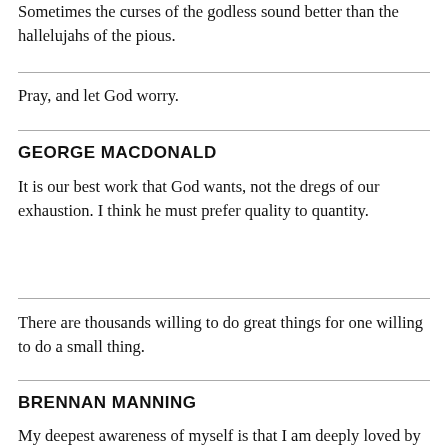Sometimes the curses of the godless sound better than the hallelujahs of the pious.
Pray, and let God worry.
GEORGE MACDONALD
It is our best work that God wants, not the dregs of our exhaustion. I think he must prefer quality to quantity.
There are thousands willing to do great things for one willing to do a small thing.
BRENNAN MANNING
My deepest awareness of myself is that I am deeply loved by Jesus Christ and I have done nothing to earn it or deserve it.